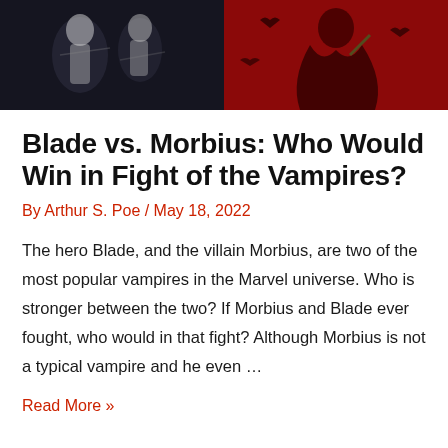[Figure (illustration): Split hero image: left side shows dark background with white/silver costumed figure (Blade), right side shows red background with a caped dark figure (Morbius)]
Blade vs. Morbius: Who Would Win in Fight of the Vampires?
By Arthur S. Poe / May 18, 2022
The hero Blade, and the villain Morbius, are two of the most popular vampires in the Marvel universe. Who is stronger between the two? If Morbius and Blade ever fought, who would in that fight? Although Morbius is not a typical vampire and he even …
Read More »